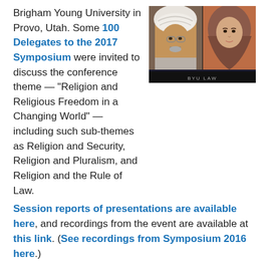Brigham Young University in Provo, Utah. Some 100 Delegates to the 2017 Symposium were invited to discuss the conference theme — "Religion and Religious Freedom in a Changing World" — including such sub-themes as Religion and Security, Religion and Pluralism, and Religion and the Rule of Law.
[Figure (photo): Two portrait photos side by side: an elderly man in a white turban on the left, and a woman wearing a hijab on the right. Dark background with a small logo at the bottom.]
Session reports of presentations are available here, and recordings from the event are available at this link. (See recordings from Symposium 2016 here.)
The 2017 Symposium opened Sunday evening, October 1, with keynote addresses by Ján Figel', the European Commission's Special Envoy for promotion of freedom of religion or belief outside the European Union, and András Sajó, Hungarian scholar and former Judge